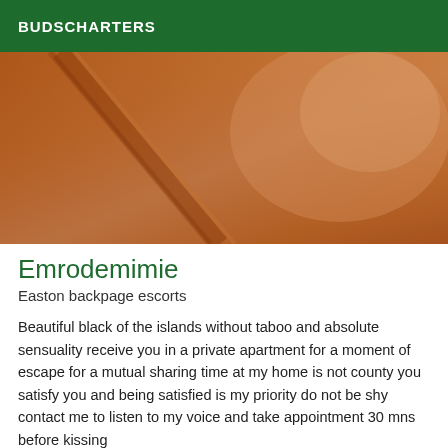BUDSCHARTERS
[Figure (photo): Close-up photo of warm brown tones, appearing to show skin or leather-like texture with diagonal lines/folds.]
Emrodemimie
Easton backpage escorts
Beautiful black of the islands without taboo and absolute sensuality receive you in a private apartment for a moment of escape for a mutual sharing time at my home is not county you satisfy you and being satisfied is my priority do not be shy contact me to listen to my voice and take appointment 30 mns before kissing